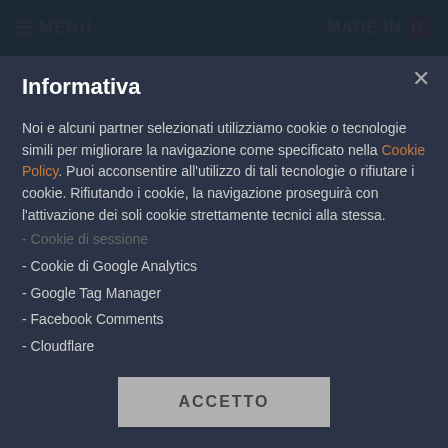≡ MENU   MADE IN IT
beginning of the game and he remained on the sideline only with his shirt, challenging the cold and the bad weather. On the contrary, Renzo Ulivieri never took off his coat. Once he even wore it with 35 °
Informativa
Noi e alcuni partner selezionati utilizziamo cookie o tecnologie simili per migliorare la navigazione come specificato nella Cookie Policy. Puoi acconsentire all'utilizzo di tali tecnologie o rifiutare i cookie. Rifiutando i cookie, la navigazione proseguirà con l'attivazione dei soli cookie strettamente tecnici alla stessa.
- Cookie di sessione
- Cookie di Google Analytics
- Google Tag Manager
- Facebook Comments
- Cloudflare
ACCETTO